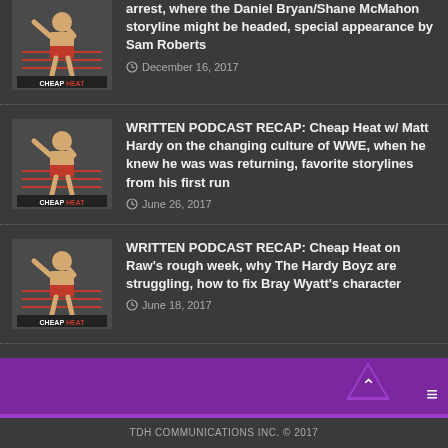arrest, where the Daniel Bryan/Shane McMahon storyline might be headed, special appearance by Sam Roberts — December 16, 2017
WRITTEN PODCAST RECAP: Cheap Heat w/ Matt Hardy on the changing culture of WWE, when he knew he was was returning, favorite storylines from his first run — June 26, 2017
WRITTEN PODCAST RECAP: Cheap Heat on Raw's rough week, why The Hardy Boyz are struggling, how to fix Bray Wyatt's character — June 18, 2017
TDH COMMUNICATIONS INC. © 2017